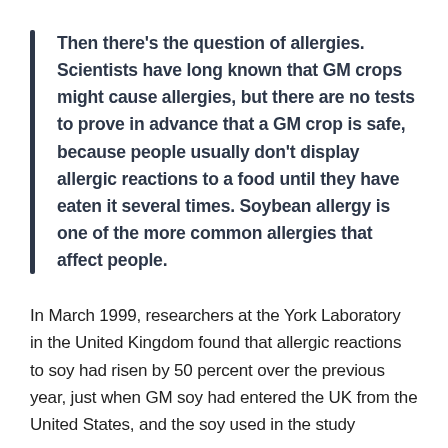Then there's the question of allergies. Scientists have long known that GM crops might cause allergies, but there are no tests to prove in advance that a GM crop is safe, because people usually don't display allergic reactions to a food until they have eaten it several times. Soybean allergy is one of the more common allergies that affect people.
In March 1999, researchers at the York Laboratory in the United Kingdom found that allergic reactions to soy had risen by 50 percent over the previous year, just when GM soy had entered the UK from the United States, and the soy used in the study